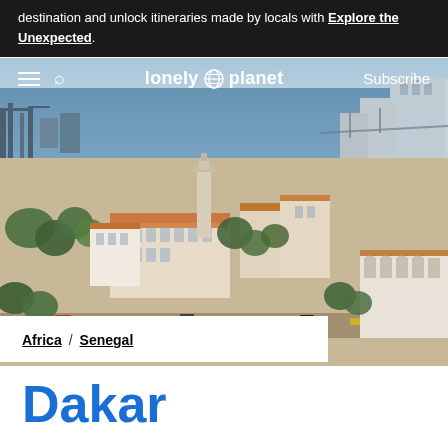destination and unlock itineraries made by locals with Explore the Unexpected.
[Figure (screenshot): Lonely Planet website navigation bar with hamburger menu, search icon, Lonely Planet globe logo, and Subscribe button overlaid on a cityscape photo]
[Figure (photo): Aerial view of Dakar, Senegal showing city buildings with terracotta roofs, trees, a harbor with ships and cranes in the background, and a church/mosque tower. Credit: Getty Images/age fotostock RM]
Getty Images/age fotostock RM
Africa / Senegal
Dakar